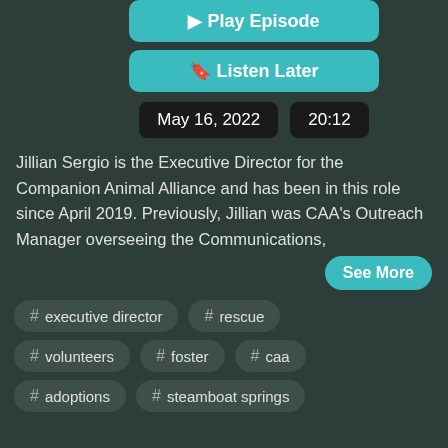[Figure (screenshot): Play Episode button — teal rounded rectangle with play icon]
[Figure (screenshot): Listen Later button — teal rounded rectangle with bookmark icon]
May 16, 2022   20:12
Jillian Sergio is the Executive Director for the Companion Animal Alliance and has been in this role since April 2019. Previously, Jillian was CAA's Outreach Manager overseeing the Communications,
See More
# executive director
# rescue
# volunteers
# foster
# caa
# adoptions
# steamboat springs